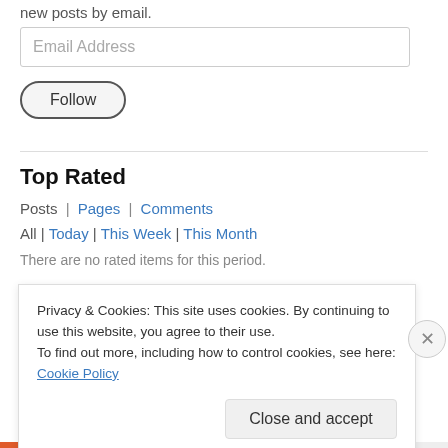new posts by email.
Email Address
Follow
Top Rated
Posts | Pages | Comments
All | Today | This Week | This Month
There are no rated items for this period.
Privacy & Cookies: This site uses cookies. By continuing to use this website, you agree to their use.
To find out more, including how to control cookies, see here: Cookie Policy
Close and accept